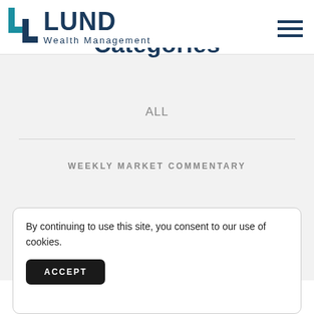LUND Wealth Management
Categories
ALL
WEEKLY MARKET COMMENTARY
By continuing to use this site, you consent to our use of cookies.